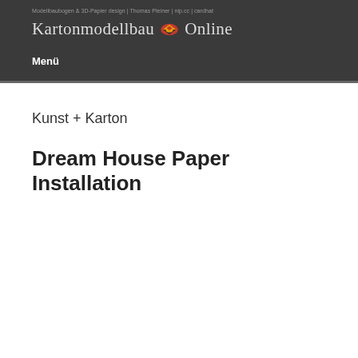Modellbaubogen & 3D-Papier design | Thomas Pleiner | nip.cc | cardhat
Kartonmodellbau Online
Menü
Kunst + Karton
Dream House Paper Installation